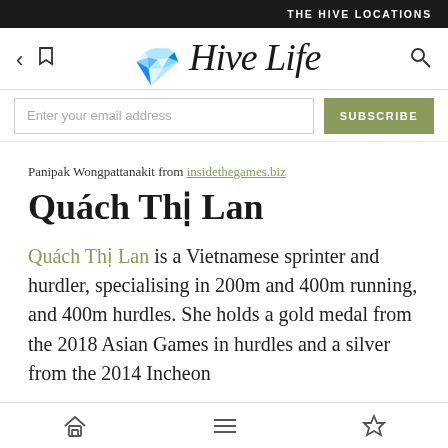THE HIVE LOCATIONS
[Figure (logo): Hive Life script logo with navigation icons (back arrow, bookmark, search)]
Enter your email address SUBSCRIBE
Panipak Wongpattanakit from insidethegames.biz
Quách Thị Lan
Quách Thị Lan is a Vietnamese sprinter and hurdler, specialising in 200m and 400m running, and 400m hurdles. She holds a gold medal from the 2018 Asian Games in hurdles and a silver from the 2014 Incheon
Home | Menu | Bookmark icons